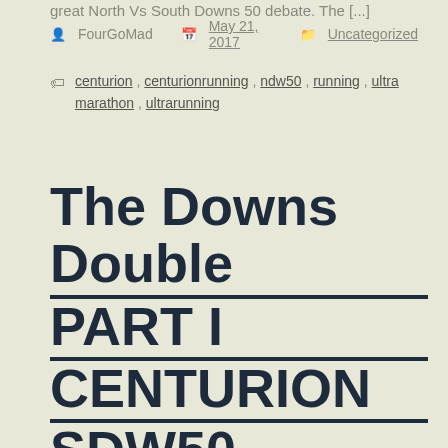great North Vs South Downs 50 debate. The [...]
FourGoMad   May 21, 2017   Uncategorized
centurion , centurionrunning , ndw50 , running , ultra marathon , ultrarunning
The Downs Double PART I CENTURION SDW50